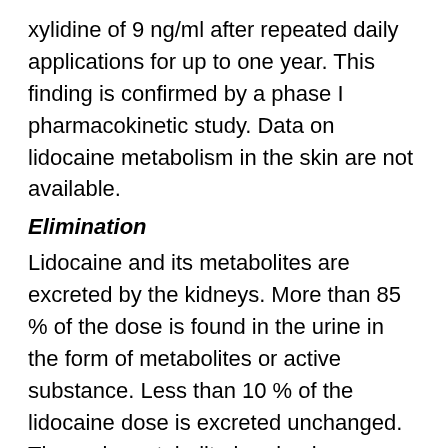xylidine of 9 ng/ml after repeated daily applications for up to one year. This finding is confirmed by a phase I pharmacokinetic study. Data on lidocaine metabolism in the skin are not available.
Elimination
Lidocaine and its metabolites are excreted by the kidneys. More than 85 % of the dose is found in the urine in the form of metabolites or active substance. Less than 10 % of the lidocaine dose is excreted unchanged. The main metabolite in urine is a conjugate of 4-hydroxy-2,6-xylidine, accounting for about 70 to 80% of the dose excreted in the urine. 2,6-xylidine is excreted in the urine in man at a concentration of less than 1% of the dose. The elimination half-life of